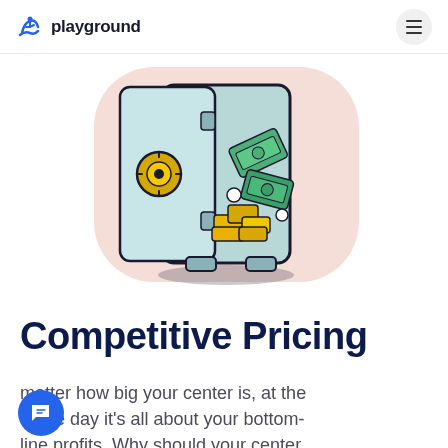playground
[Figure (illustration): Illustration of an open bank vault/safe filled with gold bars and green cash bills, set against a light pink rounded background shape. The vault door is open to the left, revealing the interior with gold ingots stacked and dollar bills scattered.]
Competitive Pricing
matter how big your center is, at the of the day it's all about your bottom-line profits. Why should your center